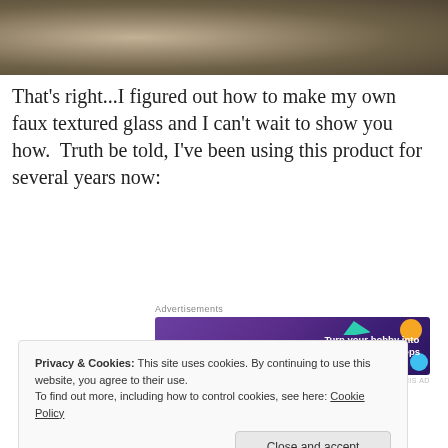[Figure (photo): Close-up photo of textured glass surface with mottled brownish-gray tones]
That's right...I figured out how to make my own faux textured glass and I can't wait to show you how.  Truth be told, I've been using this product for several years now:
[Figure (other): WooCommerce advertisement banner: 'Turn your hobby into a business in 8 steps']
[Figure (photo): Partial photo with dark blue background, bottom portion visible]
Privacy & Cookies: This site uses cookies. By continuing to use this website, you agree to their use.
To find out more, including how to control cookies, see here: Cookie Policy